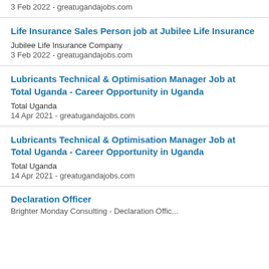3 Feb 2022 - greatugandajobs.com
Life Insurance Sales Person job at Jubilee Life Insurance
Jubilee Life Insurance Company
3 Feb 2022 - greatugandajobs.com
Lubricants Technical & Optimisation Manager Job at Total Uganda - Career Opportunity in Uganda
Total Uganda
14 Apr 2021 - greatugandajobs.com
Lubricants Technical & Optimisation Manager Job at Total Uganda - Career Opportunity in Uganda
Total Uganda
14 Apr 2021 - greatugandajobs.com
Declaration Officer
Brighter Monday Consulting - Declaration Offic...